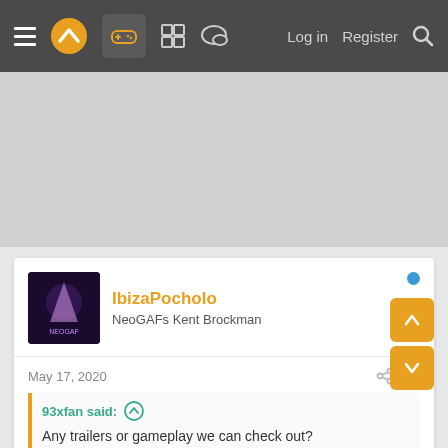NeoGAF navigation bar with hamburger menu, logo, gamepad icon, grid icon, chat icon, Log in, Register, Search
[Figure (screenshot): Advertisement area — gray placeholder]
IbizaPocholo
NeoGAFs Kent Brockman
May 17, 2020
#3
93xfan said:
Any trailers or gameplay we can check out?
[Figure (screenshot): Dark video thumbnail showing a nighttime cyberpunk city scene with red neon signs and blue atmospheric lighting]